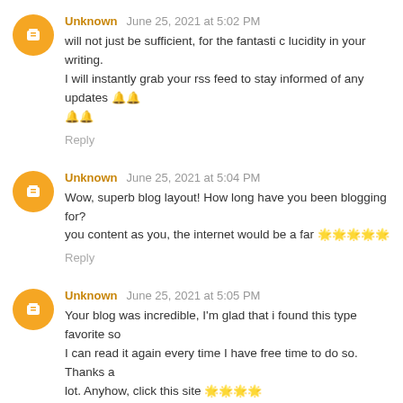Unknown  June 25, 2021 at 5:02 PM
will not just be sufficient, for the fantasti c lucidity in your writing. I will instantly grab your rss feed to stay informed of any updates 🔔🔔
Reply
Unknown  June 25, 2021 at 5:04 PM
Wow, superb blog layout! How long have you been blogging for? you content as you, the internet would be a far 🌟🌟🌟🌟🌟
Reply
Unknown  June 25, 2021 at 5:05 PM
Your blog was incredible, I'm glad that i found this type favorite so I can read it again every time I have free time to do so. Thanks a lot. Anyhow, click this site 🌟🌟🌟🌟
Reply